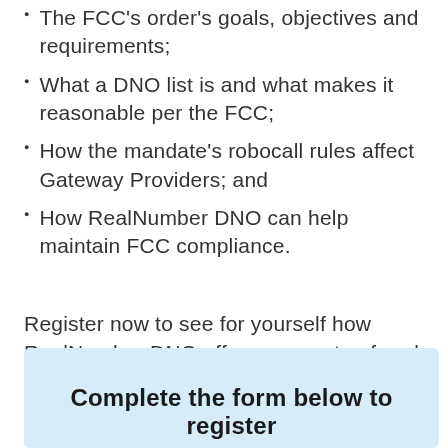The FCC's order's goals, objectives and requirements;
What a DNO list is and what makes it reasonable per the FCC;
How the mandate's robocall rules affect Gateway Providers; and
How RealNumber DNO can help maintain FCC compliance.
Register now to see for yourself how RealNumber DNO offers a one-stop fraud fighting solution that is comprehensive, affordable and user-friendly!
Complete the form below to register